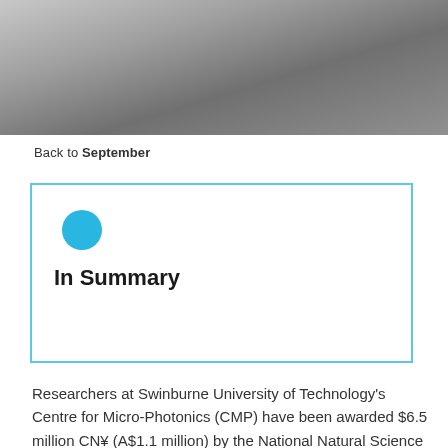[Figure (photo): Partial architectural/building photograph shown at top of page, grey tones]
Back to September
In Summary
Researchers at Swinburne University of Technology's Centre for Micro-Photonics (CMP) have been awarded $6.5 million CN¥ (A$1.1 million) by the National Natural Science Foundation of China for two information photonics (I-Photonics) research projects through established collaborations with two leading institutes in China